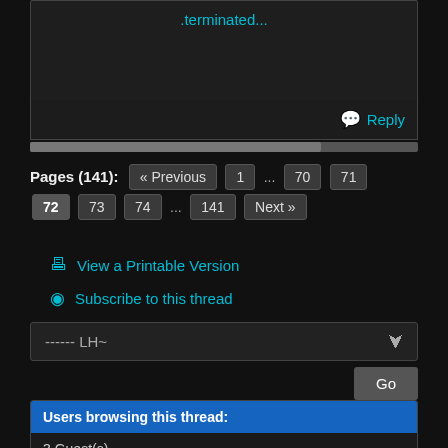.terminated...
Reply
Pages (141): « Previous 1 ... 70 71 72 73 74 ... 141 Next »
View a Printable Version
Subscribe to this thread
------ LH~
Go
Users browsing this thread:
3 Guest(s)
Powered By MyBB, © 2002-2022 MyBB Group. Theme © 2014 jAndrew & DiscoveryGC